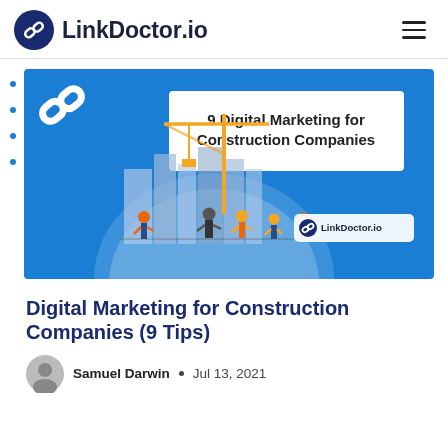LinkDoctor.io
[Figure (illustration): Blue promotional banner for LinkDoctor.io showing '9 Digital Marketing for Construction Companies' text in a white box, with construction workers and a crane illustration, and the LinkDoctor.io logo.]
Digital Marketing for Construction Companies (9 Tips)
Samuel Darwin  •  Jul 13, 2021